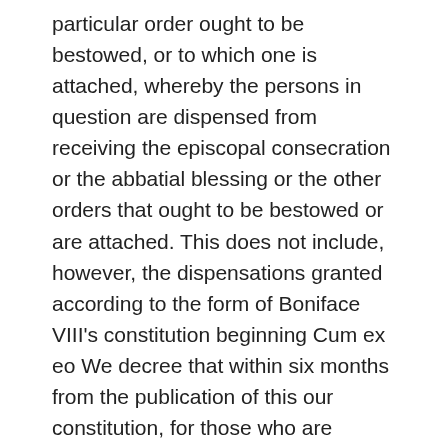particular order ought to be bestowed, or to which one is attached, whereby the persons in question are dispensed from receiving the episcopal consecration or the abbatial blessing or the other orders that ought to be bestowed or are attached. This does not include, however, the dispensations granted according to the form of Boniface VIII's constitution beginning Cum ex eo We decree that within six months from the publication of this our constitution, for those who are presently holding such appointments, and within the time laid down by the law for those who will hold them in the future, the persons concerned are to have themselves consecrated or blessed or promoted to some other required order. Otherwise they are deprived by the law itself of the said churches, monasteries, dignities, parsonages, offices and benefices. These may then be freely conferred on other persons or provision may be made for them. However,